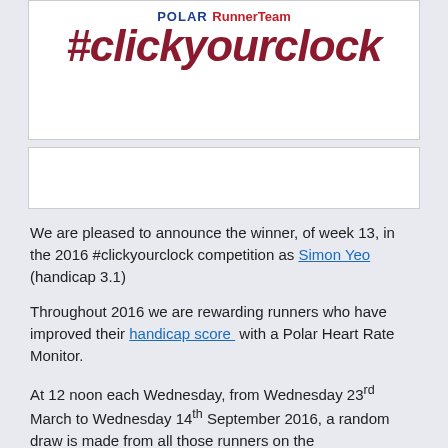[Figure (logo): Polar RunnerTeam #clickyourclock logo with red hashtag text on white background]
[Figure (other): White card placeholder, second banner area]
We are pleased to announce the winner, of week 13, in the 2016 #clickyourclock competition as Simon Yeo (handicap 3.1)
Throughout 2016 we are rewarding runners who have improved their handicap score with a Polar Heart Rate Monitor.
At 12 noon each Wednesday, from Wednesday 23rd March to Wednesday 14th September 2016, a random draw is made from all those runners on the #clickyourclock leaderboard whose scores have improved by any amount in the preceding seven days and the prize is a Polar FT4 heart rate monitor.
This week, there were 562 clocks clicked and, out of those, 332 showed an improvement and so went into the draw.